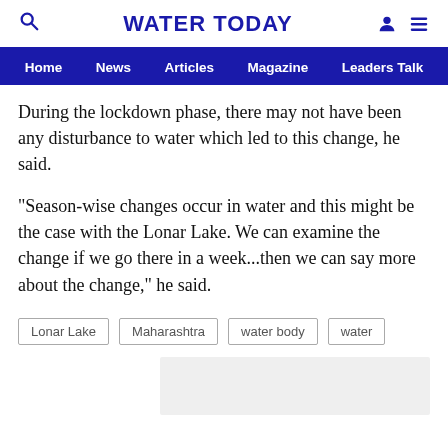WATER TODAY
Home  News  Articles  Magazine  Leaders Talk
During the lockdown phase, there may not have been any disturbance to water which led to this change, he said.
"Season-wise changes occur in water and this might be the case with the Lonar Lake. We can examine the change if we go there in a week...then we can say more about the change," he said.
Lonar Lake
Maharashtra
water body
water